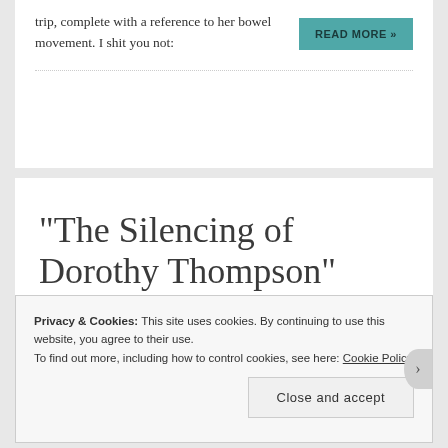trip, complete with a reference to her bowel movement. I shit you not:
READ MORE »
“The Silencing of Dorothy Thompson”
Privacy & Cookies: This site uses cookies. By continuing to use this website, you agree to their use.
To find out more, including how to control cookies, see here: Cookie Policy
Close and accept